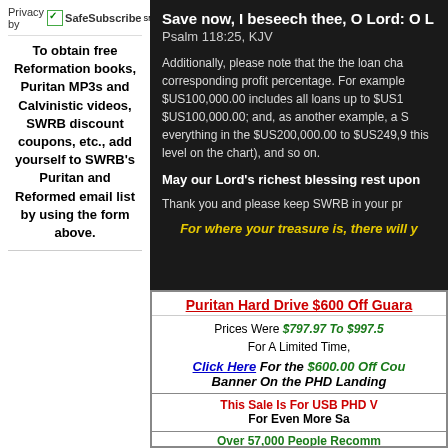Privacy by SafeSubscribeSM
To obtain free Reformation books, Puritan MP3s and Calvinistic videos, SWRB discount coupons, etc., add yourself to SWRB's Puritan and Reformed email list by using the form above.
Save now, I beseech thee, O Lord: O L
Psalm 118:25, KJV
Additionally, please note that the the loan cha corresponding profit percentage. For example $US100,000.00 includes all loans up to $US1 $US100,000.00; and, as another example, a S everything in the $US200,000.00 to $US249,9 this level on the chart), and so on.
May our Lord's richest blessing rest upon
Thank you and please keep SWRB in your pr
For where your treasure is, there will y
Puritan Hard Drive $600 Off Guara
Prices Were $797.97 To $997.5 For A Limited Time,
Click Here For the $600.00 Off Cou Banner On the PHD Landing
This Sale Is For USB PHD V For Even More Sa
Over 57,000 People Recomm